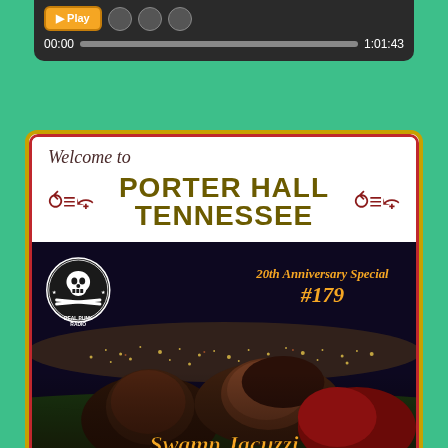[Figure (screenshot): Audio player widget with dark background showing playback controls, orange play button, progress bar, timestamp 00:00 and total duration 1:01:43]
[Figure (illustration): Album/podcast cover art for Porter Hall Tennessee on Real Punk Radio. White top section reads 'Welcome to PORTER HALL TENNESSEE' with decorative western-style ornaments. Lower half is a photograph of two people lying on grass with a night cityscape behind them. Text overlays include the Real Punk Radio skull logo, '20th Anniversary Special #179', and 'Swamp Jacuzzi' in orange italic font at the bottom.]